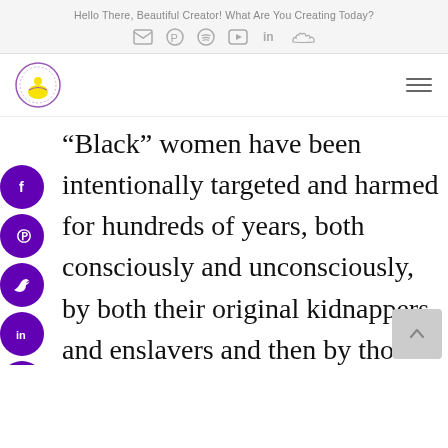Hello There, Beautiful Creator! What Are You Creating Today?
[Figure (infographic): Social media icon links: envelope, Pinterest, Spotify, YouTube, LinkedIn, SoundCloud]
[Figure (logo): Site logo: circular icon with a meditating figure in yellow/purple, outlined in purple]
[Figure (infographic): Hamburger menu icon (three horizontal lines)]
“Black” women have been intentionally targeted and harmed for hundreds of years, both consciously and unconsciously, by both their original kidnappers and enslavers and then by those compelled by greed and shame who were mentally disturbed and
[Figure (infographic): Side social share buttons: Facebook, Pinterest, Twitter, LinkedIn, Email, WhatsApp (purple circles with white icons)]
[Figure (infographic): Back to top button: grey square with upward chevron]